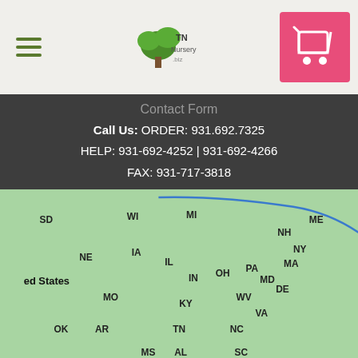TN Nursery logo, navigation menu, cart button
Contact Form
Call Us: ORDER: 931.692.7325
HELP: 931-692-4252 | 931-692-4266
FAX: 931-717-3818
[Figure (map): Map of the eastern United States showing states including SD, WI, MI, ME, NH, NY, MA, IA, IL, IN, OH, PA, MD, DE, NE, WV, VA, MO, KY, NC, OK, TN, SC, AR, MS, AL, GA, TX, LA, FL, and the Gulf of Mexico]
About
About Us
Need Wholesale Quantities?